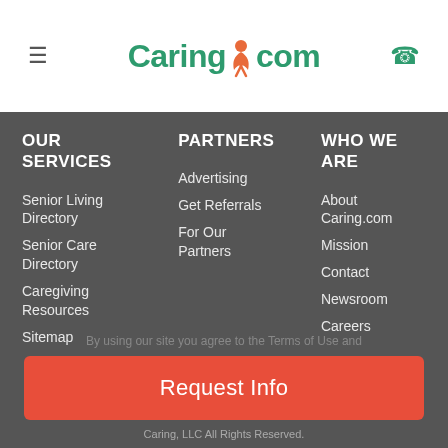Caring.com
OUR SERVICES
Senior Living Directory
Senior Care Directory
Caregiving Resources
Sitemap
PARTNERS
Advertising
Get Referrals
For Our Partners
WHO WE ARE
About Caring.com
Mission
Contact
Newsroom
Careers
Request Info
Caring, LLC All Rights Reserved.